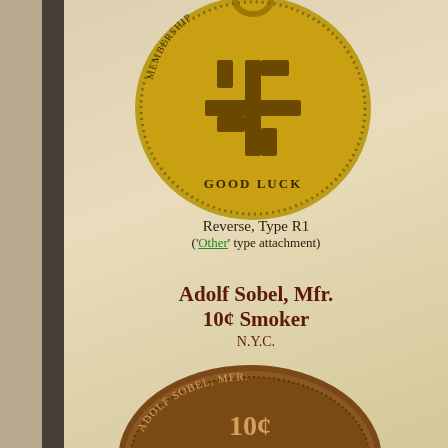[Figure (photo): A coin showing a swastika (used as a good luck symbol pre-WWII) with text 'MEMBERSHIP' around the edge and 'GOOD LUCK' at the bottom. The coin has a ring attachment at the top.]
Reverse, Type R1
('Other' type attachment)
Adolf Sobel, Mfr.
10¢ Smoker
N.Y.C.
[Figure (photo): A coin reading 'ADOLF SOBEL, MFR.' around the edge, with '10¢ SMOKER GUARANTEED 100%' in the center.]